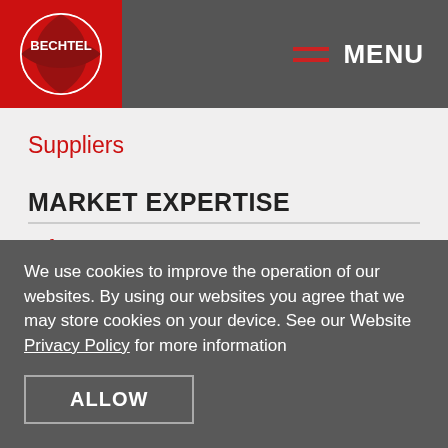BECHTEL — MENU
Suppliers
MARKET EXPERTISE
Infrastructure
Defense & Nuclear Security
Energy
Environmental Cleanup & Management
We use cookies to improve the operation of our websites. By using our websites you agree that we may store cookies on your device. See our Website Privacy Policy for more information
ALLOW